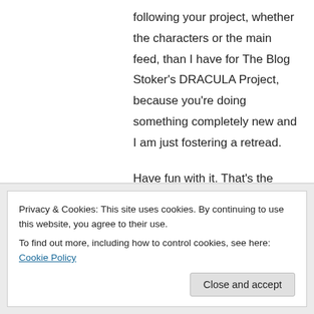following your project, whether the characters or the main feed, than I have for The Blog Stoker's DRACULA Project, because you're doing something completely new and I am just fostering a retread.
Have fun with it. That's the beauty of these media.
↳ Reply
Privacy & Cookies: This site uses cookies. By continuing to use this website, you agree to their use.
To find out more, including how to control cookies, see here: Cookie Policy
Close and accept